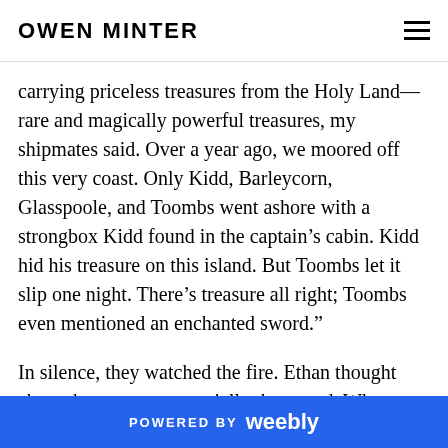OWEN MINTER
carrying priceless treasures from the Holy Land—rare and magically powerful treasures, my shipmates said. Over a year ago, we moored off this very coast. Only Kidd, Barleycorn, Glasspoole, and Toombs went ashore with a strongbox Kidd found in the captain’s cabin. Kidd hid his treasure on this island. But Toombs let it slip one night. There’s treasure all right; Toombs even mentioned an enchanted sword.”
In silence, they watched the fire. Ethan thought about the treasure, especially the sword. What was an enchanted sword? What could it do? What
POWERED BY weebly